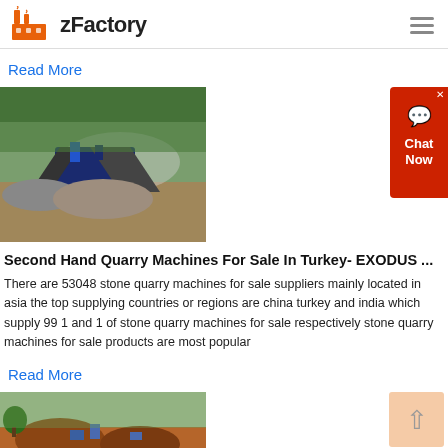zFactory
Read More
[Figure (photo): Industrial quarry machine with conveyor belts and gravel piles outdoors]
Second Hand Quarry Machines For Sale In Turkey- EXODUS ...
There are 53048 stone quarry machines for sale suppliers mainly located in asia the top supplying countries or regions are china turkey and india which supply 99 1 and 1 of stone quarry machines for sale respectively stone quarry machines for sale products are most popular
Read More
[Figure (photo): Aerial view of a quarry site with machinery and earth mounds]